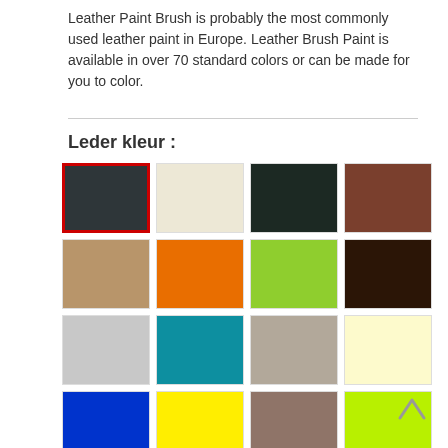Leather Paint Brush is probably the most commonly used leather paint in Europe. Leather Brush Paint is available in over 70 standard colors or can be made for you to color.
Leder kleur :
[Figure (other): A 4x5 grid of color swatches showing leather paint colors: dark charcoal (selected with red border), cream/off-white, dark green, brown; tan/khaki, orange, lime green, dark brown; light gray, teal, warm gray/taupe, pale yellow; blue, yellow, mauve/grayish-brown, neon green/chartreuse; magenta/hot pink, nude/beige, purple, off-white/cream; partial row visible at bottom]